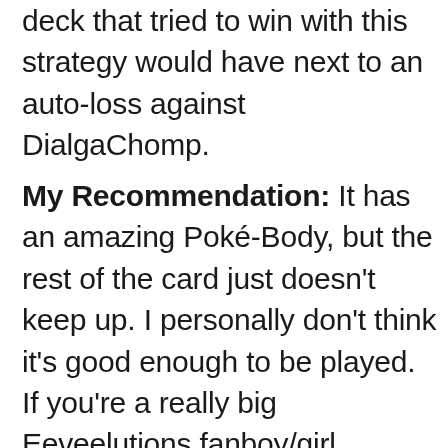deck that tried to win with this strategy would have next to an auto-loss against DialgaChomp.
My Recommendation: It has an amazing Poké-Body, but the rest of the card just doesn't keep up. I personally don't think it's good enough to be played. If you're a really big Eeveelutions fanboy/girl insisting on playing Eevees every week at League and you don't have Umbreon Prime, this is your best bet.